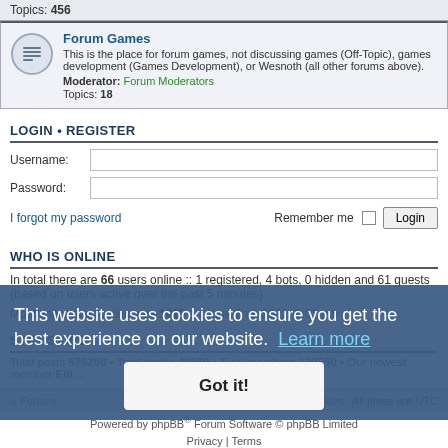Topics: 456
| Forum Games | This is the place for forum games, not discussing games (Off-Topic), games development (Games Development), or Wesnoth (all other forums above). | Moderator: Forum Moderators | Topics: 18 |
LOGIN • REGISTER
Username:
Password:
I forgot my password
Remember me  Login
WHO IS ONLINE
In total there are 66 users online :: 1 registered, 4 bots, 0 hidden and 61 guests (based on users active over the past 5 minutes)
Most users ever online was 1925 on June 2nd, 2021, 5:02 pm
STATISTICS
Total posts 575280 • Total topics 40369 • Total members 130550 • Our newest member Elli...
Forums  Delete cookies  All times are UTC
Powered by phpBB® Forum Software © phpBB Limited
Privacy | Terms
This website uses cookies to ensure you get the best experience on our website. Learn more
Got it!